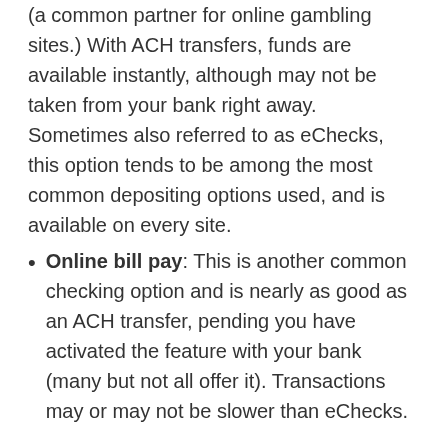(a common partner for online gambling sites.) With ACH transfers, funds are available instantly, although may not be taken from your bank right away. Sometimes also referred to as eChecks, this option tends to be among the most common depositing options used, and is available on every site.
Online bill pay: This is another common checking option and is nearly as good as an ACH transfer, pending you have activated the feature with your bank (many but not all offer it). Transactions may or may not be slower than eChecks.
Best bet? We have to go with ACH transfers on this one, as they generally allow for higher limits and are quickly processed via an experienced payment processor in the gambling industry. Not only that, but online banking